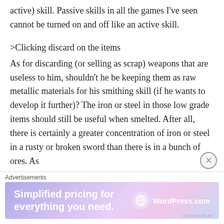active) skill. Passive skills in all the games I've seen cannot be turned on and off like an active skill.
>Clicking discard on the items
As for discarding (or selling as scrap) weapons that are useless to him, shouldn't he be keeping them as raw metallic materials for his smithing skill (if he wants to develop it further)? The iron or steel in those low grade items should still be useful when smelted. After all, there is certainly a greater concentration of iron or steel in a rusty or broken sword than there is in a bunch of ores. As long as he has weight carrying capacity, he
Advertisements
[Figure (infographic): WordPress.com advertisement banner with gradient purple/pink background. Text reads 'Simplified pricing for everything you need.' with WordPress.com logo.]